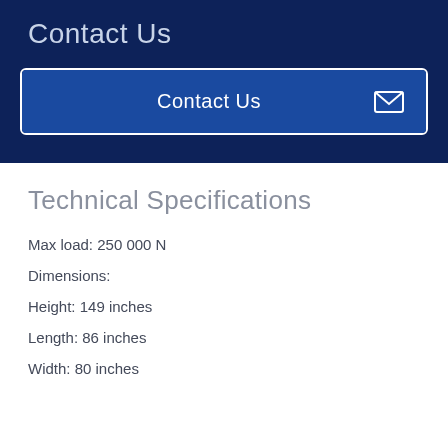Contact Us
[Figure (other): Contact Us button with envelope icon, white border, blue background]
Technical Specifications
Max load: 250 000 N
Dimensions:
Height: 149 inches
Length: 86 inches
Width: 80 inches